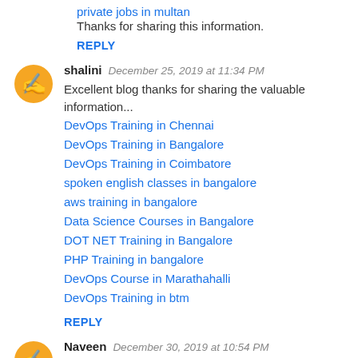private jobs in multan
Thanks for sharing this information.
REPLY
shalini  December 25, 2019 at 11:34 PM
Excellent blog thanks for sharing the valuable information...
DevOps Training in Chennai
DevOps Training in Bangalore
DevOps Training in Coimbatore
spoken english classes in bangalore
aws training in bangalore
Data Science Courses in Bangalore
DOT NET Training in Bangalore
PHP Training in bangalore
DevOps Course in Marathahalli
DevOps Training in btm
REPLY
Naveen  December 30, 2019 at 10:54 PM
Handling Solutions Products - Here is the link of best Handling Solutions products of